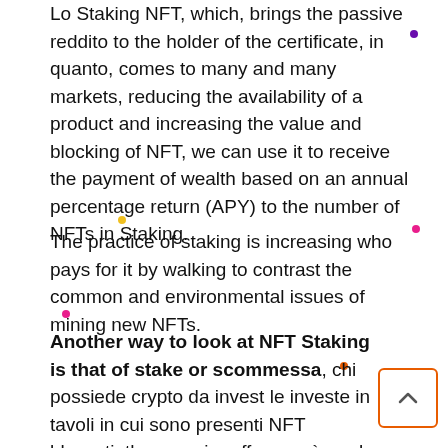Lo Staking NFT, which, brings the passive reddito to the holder of the certificate, in quanto, comes to many and many markets, reducing the availability of a product and increasing the value and blocking of NFT, we can use it to receive the payment of wealth based on an annual percentage return (APY) to the number of NFTs in Staking.
The practice of staking is increasing who pays for it by walking to contrast the common and environmental issues of mining new NFTs.
Another way to look at NFT Staking is that of stake or scommessa, chi possiede crypto da invest le investe in tavoli in cui sono presenti NFT bloccati, the maggior offera avrà, probabilità diritto di proprietà. The Crypto su ogni tavolo